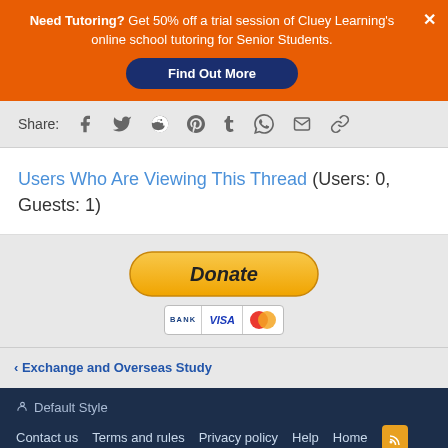Need Tutoring? Get 50% off a trial session of Cluey Learning's online school tutoring for Senior Students. Find Out More
Share:
Users Who Are Viewing This Thread (Users: 0, Guests: 1)
[Figure (other): PayPal Donate button with payment icons (BANK, VISA, Mastercard)]
< Exchange and Overseas Study
Default Style | Contact us | Terms and rules | Privacy policy | Help | Home | © Copyright 2002-2022 iStudy Australia Pty Ltd | Forum software by XenForo® © 2010-2019 XenForo Ltd.